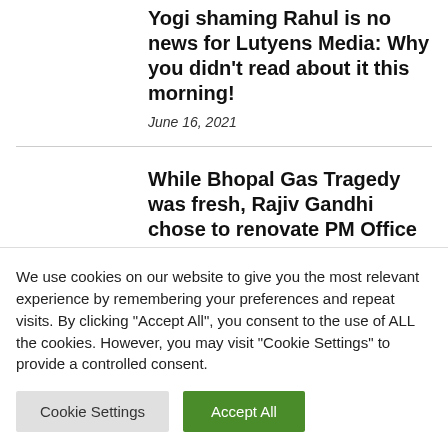Yogi shaming Rahul is no news for Lutyens Media: Why you didn’t read about it this morning!
June 16, 2021
While Bhopal Gas Tragedy was fresh, Rajiv Gandhi chose to renovate PM Office
May 26, 2021
We use cookies on our website to give you the most relevant experience by remembering your preferences and repeat visits. By clicking “Accept All”, you consent to the use of ALL the cookies. However, you may visit “Cookie Settings” to provide a controlled consent.